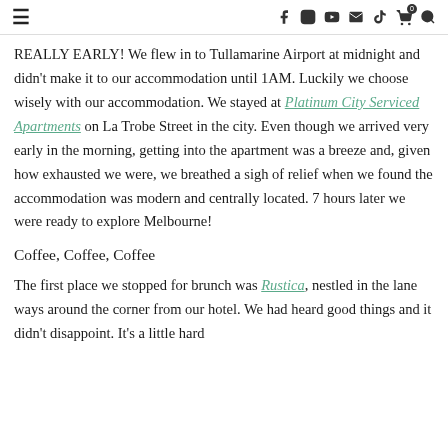≡ | f  Instagram  YouTube  ✉  TikTok  🛒0  🔍
REALLY EARLY! We flew in to Tullamarine Airport at midnight and didn't make it to our accommodation until 1AM. Luckily we choose wisely with our accommodation. We stayed at Platinum City Serviced Apartments on La Trobe Street in the city. Even though we arrived very early in the morning, getting into the apartment was a breeze and, given how exhausted we were, we breathed a sigh of relief when we found the accommodation was modern and centrally located. 7 hours later we were ready to explore Melbourne!
Coffee, Coffee, Coffee
The first place we stopped for brunch was Rustica, nestled in the lane ways around the corner from our hotel. We had heard good things and it didn't disappoint. It's a little hard